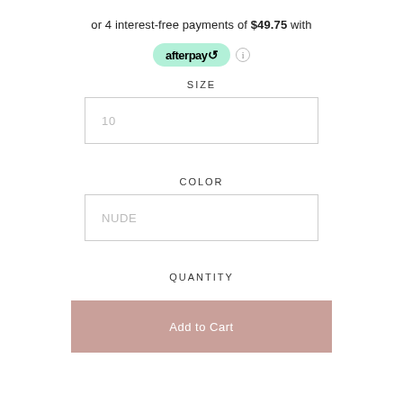or 4 interest-free payments of $49.75 with
[Figure (logo): Afterpay logo badge with teal/mint background and arrow icon, followed by an info icon]
SIZE
10
COLOR
NUDE
QUANTITY
- 1 +
Add to Cart